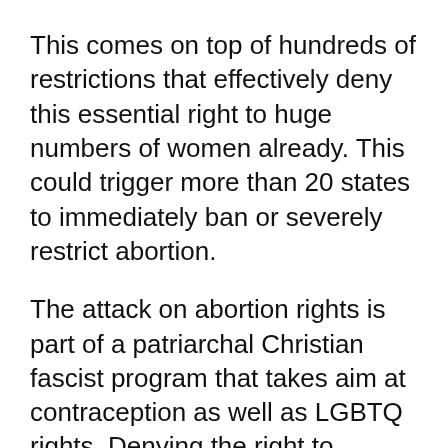This comes on top of hundreds of restrictions that effectively deny this essential right to huge numbers of women already. This could trigger more than 20 states to immediately ban or severely restrict abortion.
The attack on abortion rights is part of a patriarchal Christian fascist program that takes aim at contraception as well as LGBTQ rights. Denying the right to abortion hits poor women, and especially Black and other women of color, with vicious consequence – tightening the chains of both white